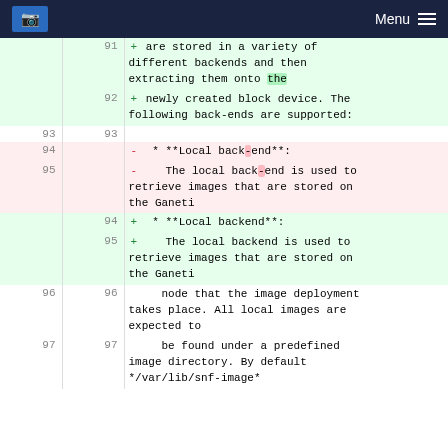Menu
| old line | new line | content |
| --- | --- | --- |
|  | 91 | + are stored in a variety of different backends and then extracting them onto the |
|  | 92 | + newly created block device. The following back-ends are supported: |
| 93 | 93 |  |
| 94 |  | - * **Local back-end**: |
| 95 |  | -    The local back-end is used to retrieve images that are stored on the Ganeti |
|  | 94 | + * **Local backend**: |
|  | 95 | +    The local backend is used to retrieve images that are stored on the Ganeti |
| 96 | 96 |     node that the image deployment takes place. All local images are expected to |
| 97 | 97 |     be found under a predefined image directory. By default */var/lib/snf-image* |